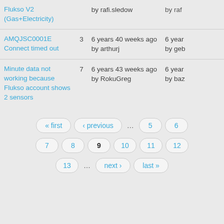| Topic | Replies | Last post |  |
| --- | --- | --- | --- |
| Flukso V2 (Gas+Electricity) |  | by rafi.sledow | by raf |
| AMQJSC0001E Connect timed out | 3 | 6 years 40 weeks ago by arthurj | 6 years ... by geb |
| Minute data not working because Flukso account shows 2 sensors | 7 | 6 years 43 weeks ago by RokuGreg | 6 years ... by baz |
« first
‹ previous
...
5
6
7
8
9
10
11
12
13
...
next ›
last »